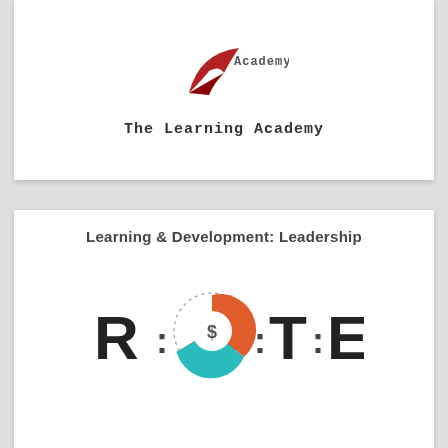[Figure (logo): The Learning Academy logo — red bird/wing graphic with 'Academy' text, followed by 'The Learning Academy' caption below]
The Learning Academy
Learning & Development: Leadership
[Figure (logo): R : C : T : E logo with a circular donut/pie chart icon in the center showing dark navy, orange, and teal segments, with a dollar sign in the middle]